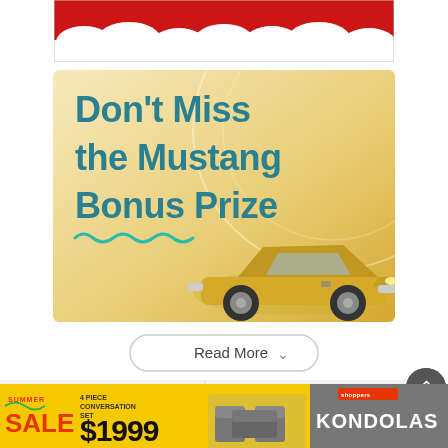[Figure (illustration): Top cropped advertisement showing red and white clouds/foam at the bottom, partial view of a red product above]
[Figure (illustration): Mustang Bonus Prize advertisement with golden/yellow background, large teal text reading Don't Miss the Mustang Bonus Prize, squiggly teal underline, white circle arc decoration, and yellow Ford Mustang convertible car in lower right]
[Figure (illustration): Read More button with dropdown chevron, white rounded pill shape with border]
[Figure (illustration): Navigation bar with Previous and Next arrows, back-to-top circular dark button]
[Figure (illustration): Bottom banner advertisement: Summer Sale yellow background with SALE text in red, 4 PIECE CONVERSATION SET $1999 price, outdoor furniture image, KONDOLAS branding in grey, Shoppers logo top right]